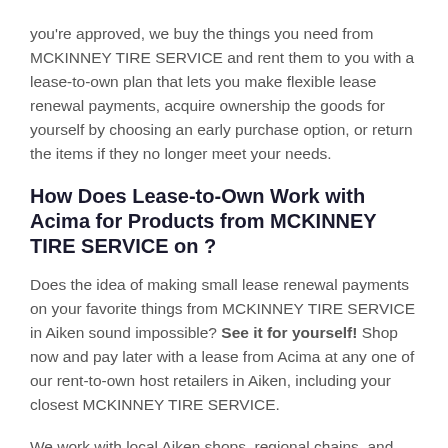you're approved, we buy the things you need from MCKINNEY TIRE SERVICE and rent them to you with a lease-to-own plan that lets you make flexible lease renewal payments, acquire ownership the goods for yourself by choosing an early purchase option, or return the items if they no longer meet your needs.
How Does Lease-to-Own Work with Acima for Products from MCKINNEY TIRE SERVICE on ?
Does the idea of making small lease renewal payments on your favorite things from MCKINNEY TIRE SERVICE in Aiken sound impossible? See it for yourself! Shop now and pay later with a lease from Acima at any one of our rent-to-own host retailers in Aiken, including your closest MCKINNEY TIRE SERVICE.
We work with local Aiken shops, regional chains, and nationwide retailers with many South Carolina locations. We'll